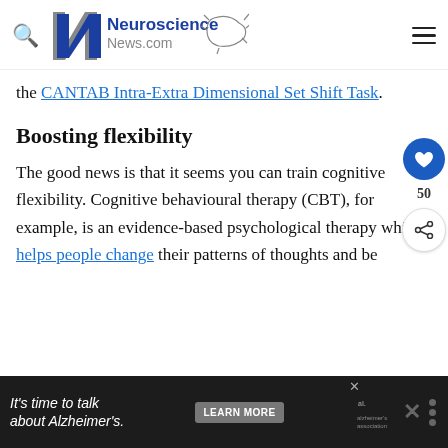Neuroscience News.com
the CANTAB Intra-Extra Dimensional Set Shift Task.
Boosting flexibility
The good news is that it seems you can train cognitive flexibility. Cognitive behavioural therapy (CBT), for example, is an evidence-based psychological therapy which helps people change their patterns of thoughts and be...
[Figure (other): Alzheimer's awareness advertisement banner at the bottom: 'It's time to talk about Alzheimer's.' with a LEARN MORE button and Alzheimer's Association logo.]